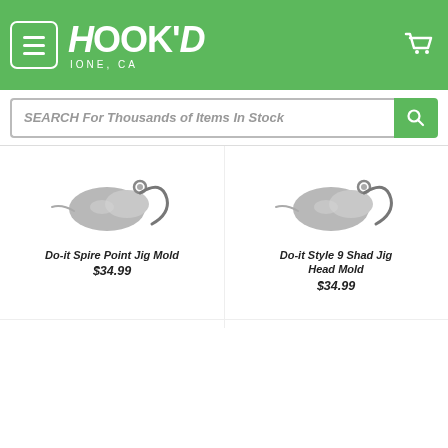[Figure (screenshot): Hook'd Ione CA store header with green background, hamburger menu button, logo text, and cart icon]
SEARCH For Thousands of Items In Stock
[Figure (photo): Do-it Spire Point Jig Mold product photo showing silver jig mold]
Do-it Spire Point Jig Mold
$34.99
[Figure (photo): Do-it Style 9 Shad Jig Head Mold product photo showing silver jig mold]
Do-it Style 9 Shad Jig Head Mold
$34.99
[Figure (photo): New product: jig head with gold hook and silver head, New badge in green]
[Figure (photo): New product: jig head with dark hook and silver head, New badge in green, scroll-up button overlay]